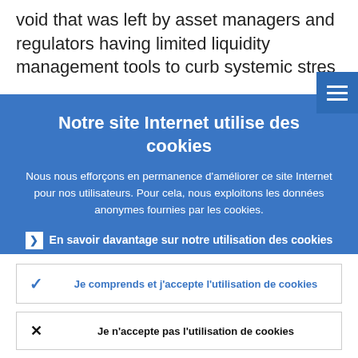void that was left by asset managers and regulators having limited liquidity management tools to curb systemic stres
Notre site Internet utilise des cookies
Nous nous efforçons en permanence d'améliorer ce site Internet pour nos utilisateurs. Pour cela, nous exploitons les données anonymes fournies par les cookies.
En savoir davantage sur notre utilisation des cookies
Je comprends et j'accepte l'utilisation de cookies
Je n'accepte pas l'utilisation de cookies